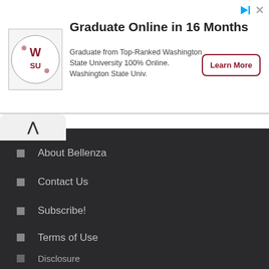[Figure (logo): Washington State University circular logo with WSU letters in crimson on white background]
Graduate Online in 16 Months
Graduate from Top-Ranked Washington State University 100% Online. Washington State Univ.
Learn More
About Bellenza
Contact Us
Subscribe!
Terms of Use
Disclosure
Privacy Policy (Updated)